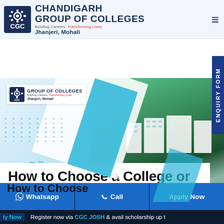CHANDIGARH GROUP OF COLLEGES — Building Careers. Transforming Lives. Jhanjeri, Mohali
[Figure (photo): Aerial view of CGC Jhanjeri campus buildings with green fields, overlaid with white and blue diagonal geometric shapes, dot grid pattern, and CGC mini logo brand badge.]
How to Choose
How to Choose a College or University?
Whatsapp | Call | Apply Now
ly Now   Register now via CGC JOSH & avail scholarship up t